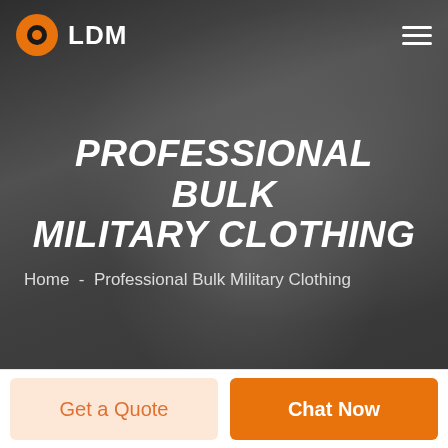LDM
[Figure (photo): Grayscale hero background photo of a smiling man in a light jacket with dark overlay]
PROFESSIONAL BULK MILITARY CLOTHING
Home  -  Professional Bulk Military Clothing
Get a Quote
Chat Now